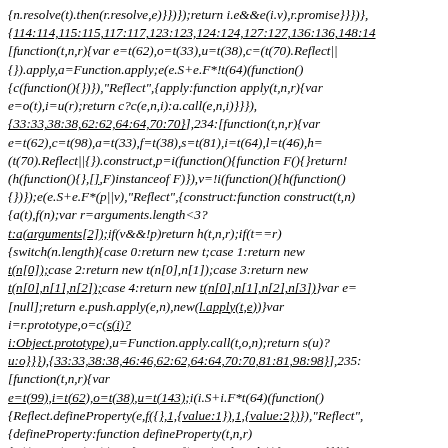{n.resolve(t).then(r.resolve,e)}})});return i.e&&e(i.v),r.promise}}})},{114:114,115:115,117:117,123:123,124:124,127:127,136:136,148:14 [function(t,n,r){var e=t(62),o=t(33),u=t(38),c=(t(70).Reflect||{}).apply,a=Function.apply;e(e.S+e.F*!t(64)(function(){c(function(){})}),"Reflect",{apply:function apply(t,n,r){var e=o(t),i=u(r);return c?c(e,n,i):a.call(e,n,i)}}),{33:33,38:38,62:62,64:64,70:70}],234:[function(t,n,r){var e=t(62),c=t(98),a=t(33),f=t(38),s=t(81),i=t(64),l=t(46),h=(t(70).Reflect||{}).construct,p=i(function(){function F(){}return!(h(function(){},[], F)instanceof F)}),v=!i(function(){h(function(){})});e(e.S+e.F*(p||v),"Reflect",{construct:function construct(t,n){a(t),f(n);var r=arguments.length<3?t:a(arguments[2]);if(v&&!p)return h(t,n,r);if(t==r){switch(n.length){case 0:return new t;case 1:return new t(n[0]);case 2:return new t(n[0],n[1]);case 3:return new t(n[0],n[1],n[2]);case 4:return new t(n[0],n[1],n[2],n[3])}var e=[null];return e.push.apply(e,n),new(l.apply(t,e))}var i=r.prototype,o=c(s(i)?i:Object.prototype),u=Function.apply.call(t,o,n);return s(u)?u:o}}},{33:33,38:38,46:46,62:62,64:64,70:70,81:81,98:98}],235:[function(t,n,r){var e=t(99),i=t(62),o=t(38),u=t(143);i(i.S+i.F*t(64)(function(){Reflect.defineProperty(e,f({},1,{value:1}),1,{value:2})}),"Reflect",{defineProperty:function defineProperty(t,n,r){o(t),n=u(n,!0),o(r);try{return e.f(t,n,r),!0}catch(t){return!1}}}),